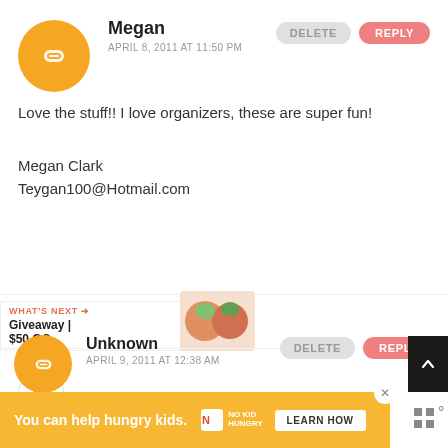[Figure (screenshot): Blogger profile avatar icon, orange circle with white B logo]
Megan
APRIL 8, 2011 AT 11:50 PM
DELETE
REPLY
Love the stuff!! I love organizers, these are super fun!
Megan Clark
Teygan100@Hotmail.com
[Figure (screenshot): Pink heart like button]
[Figure (screenshot): Share button with people icon and plus sign]
WHAT'S NEXT → Giveaway | $50 GC...
[Figure (photo): Small decorative images for Giveaway preview]
[Figure (screenshot): Blogger profile avatar icon, orange circle with white B logo, smaller]
Unknown
APRIL 9, 2011 AT 12:38 AM
DELETE
REPLY
You can help hungry kids. NO KID HUNGRY LEARN HOW
[Figure (screenshot): Back to top arrow button, dark background]
[Figure (screenshot): Dots/menu icon at bottom right]